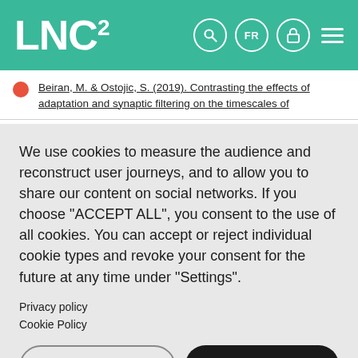LNC²
Beiran, M. & Ostojic, S. (2019). Contrasting the effects of adaptation and synaptic filtering on the timescales of
We use cookies to measure the audience and reconstruct user journeys, and to allow you to share our content on social networks. If you choose "ACCEPT ALL", you consent to the use of all cookies. You can accept or reject individual cookie types and revoke your consent for the future at any time under "Settings".
Privacy policy
Cookie Policy